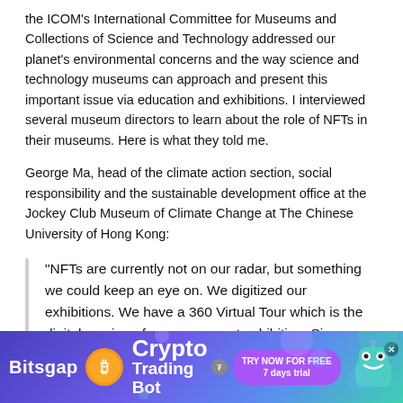the ICOM's International Committee for Museums and Collections of Science and Technology addressed our planet's environmental concerns and the way science and technology museums can approach and present this important issue via education and exhibitions. I interviewed several museum directors to learn about the role of NFTs in their museums. Here is what they told me.
George Ma, head of the climate action section, social responsibility and the sustainable development office at the Jockey Club Museum of Climate Change at The Chinese University of Hong Kong:
“NFTs are currently not on our radar, but something we could keep an eye on. We digitized our exhibitions. We have a 360 Virtual Tour which is the digital version of our permanent exhibition. Since 2018, for every themed exhibition we developed, we also produced a digital version of it, either in a more website-like format or in 360 VR.”
[Figure (infographic): Advertisement banner for Bitsgap Crypto Trading Bot. Purple/blue gradient background with decorative circles and orbs. Shows Bitsgap logo text, a Bitcoin coin icon, 'Crypto Trading Bot' text, a 'TRY NOW FOR FREE 7 days trial' purple button, and a robot mascot character on the right.]